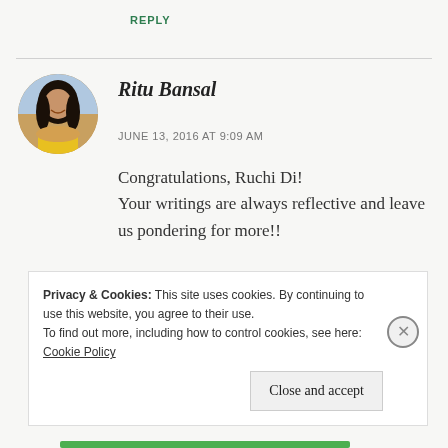REPLY
[Figure (photo): Circular avatar photo of Ritu Bansal, a smiling woman with long dark hair wearing a yellow outfit]
Ritu Bansal
JUNE 13, 2016 AT 9:09 AM
Congratulations, Ruchi Di! Your writings are always reflective and leave us pondering for more!!
Privacy & Cookies: This site uses cookies. By continuing to use this website, you agree to their use.
To find out more, including how to control cookies, see here: Cookie Policy
Close and accept